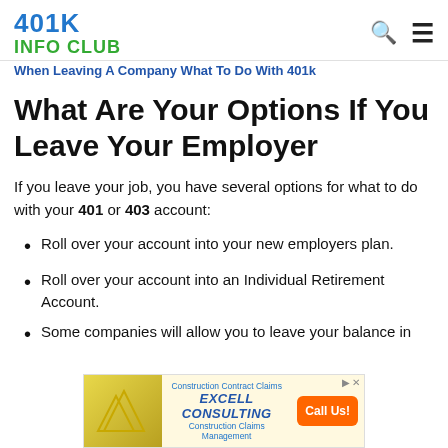401K INFO CLUB
When Leaving A Company What To Do With 401k
What Are Your Options If You Leave Your Employer
If you leave your job, you have several options for what to do with your 401 or 403 account:
Roll over your account into your new employers plan.
Roll over your account into an Individual Retirement Account.
Some companies will allow you to leave your balance in
[Figure (other): Advertisement banner for Excell Consulting - Construction Contract Claims, with orange Call Us button]